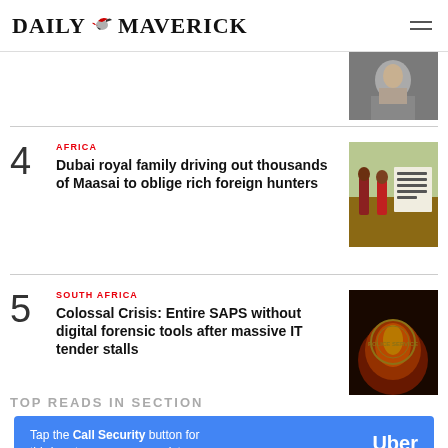DAILY MAVERICK
[Figure (photo): Partial thumbnail of article above item 4]
4 AFRICA — Dubai royal family driving out thousands of Maasai to oblige rich foreign hunters
5 SOUTH AFRICA — Colossal Crisis: Entire SAPS without digital forensic tools after massive IT tender stalls
TOP READS IN SECTION
[Figure (infographic): Uber ad banner: Tap the Call Security button for third-party emergency assistance]